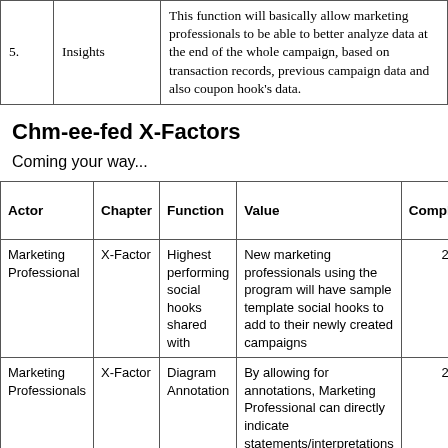| 5. | Insights | description |
| --- | --- | --- |
| 5. | Insights | This function will basically allow marketing professionals to be able to better analyze data at the end of the whole campaign, based on transaction records, previous campaign data and also coupon hook's data. |
Chm-ee-fed X-Factors
Coming your way...
| Actor | Chapter | Function | Value | Complexity | Am of (H |
| --- | --- | --- | --- | --- | --- |
| Marketing Professional | X-Factor | Highest performing social hooks shared with | New marketing professionals using the program will have sample template social hooks to add to their newly created campaigns | 2 |  |
| Marketing Professionals | X-Factor | Diagram Annotation | By allowing for annotations, Marketing Professional can directly indicate statements/interpretations directly on the diagram | 2 |  |